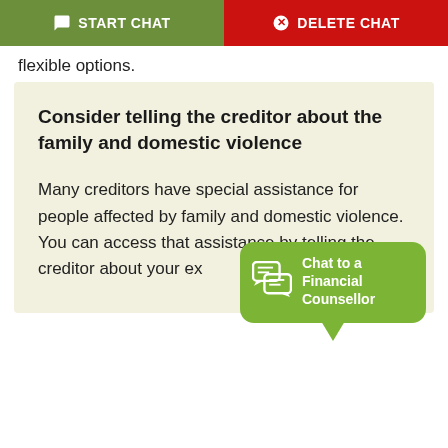START CHAT | DELETE CHAT
flexible options.
Consider telling the creditor about the family and domestic violence
Many creditors have special assistance for people affected by family and domestic violence. You can access that assistance by telling the creditor about your ex...
[Figure (infographic): Green speech bubble widget with chat icon and text 'Chat to a Financial Counsellor']